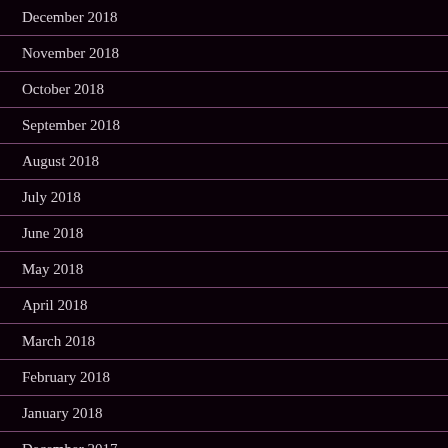December 2018
November 2018
October 2018
September 2018
August 2018
July 2018
June 2018
May 2018
April 2018
March 2018
February 2018
January 2018
December 2017